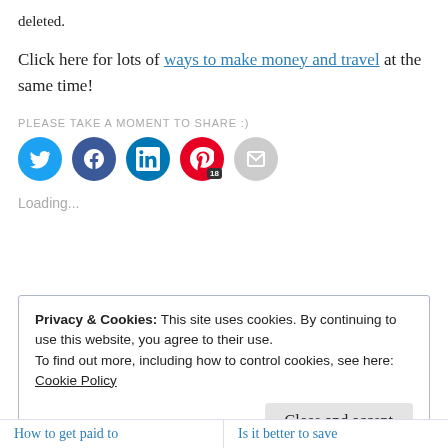deleted.
Click here for lots of ways to make money and travel at the same time!
PLEASE TAKE A MOMENT TO SHARE :)
[Figure (other): Row of social sharing buttons: Twitter (blue circle), Facebook (blue circle), LinkedIn (teal circle), Pinterest (red circle with badge 18), Email (gray circle)]
Loading...
Privacy & Cookies: This site uses cookies. By continuing to use this website, you agree to their use.
To find out more, including how to control cookies, see here:
Cookie Policy
Close and accept
How to get paid to
Is it better to save